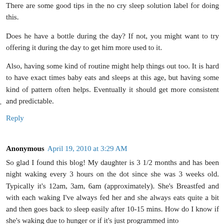There are some good tips in the no cry sleep solution label for doing this.
Does he have a bottle during the day? If not, you might want to try offering it during the day to get him more used to it.
Also, having some kind of routine might help things out too. It is hard to have exact times baby eats and sleeps at this age, but having some kind of pattern often helps. Eventually it should get more consistent and predictable.
Reply
Anonymous April 19, 2010 at 3:29 AM
So glad I found this blog! My daughter is 3 1/2 months and has been night waking every 3 hours on the dot since she was 3 weeks old. Typically it's 12am, 3am, 6am (approximately). She's Breastfed and with each waking I've always fed her and she always eats quite a bit and then goes back to sleep easily after 10-15 mins. How do I know if she's waking due to hunger or if it's just programmed into